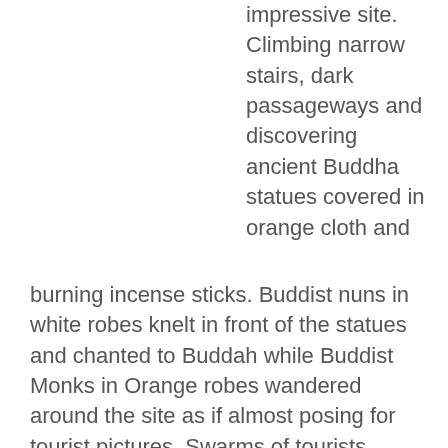exploring the vast impressive site. Climbing narrow stairs, dark passageways and discovering ancient Buddha statues covered in orange cloth and burning incense sticks. Buddist nuns in white robes knelt in front of the statues and chanted to Buddah while Buddist Monks in Orange robes wandered around the site as if almost posing for tourist pictures. Swarms of tourists congregated around there guide translating and Japanese tourists were plenty ladened down with huge cameras.
The next day we did the small circuit visiting Angkor Thom, Ta Keo the temple mountain that was